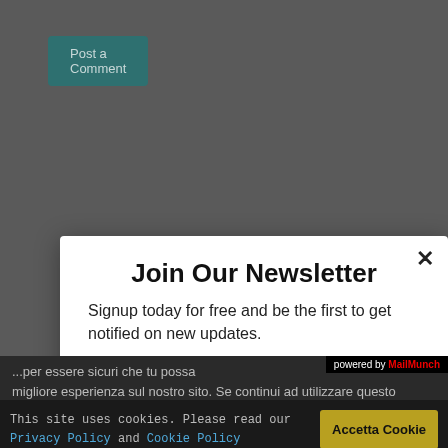[Figure (screenshot): Website background — dark gray page with a teal 'Post a Comment' button in the top left]
Post a Comment
Join Our Newsletter
Signup today for free and be the first to get notified on new updates.
globalrightsmag@gmail.com
Subscribe
powered by MailMunch
...per essere sicuri che tu possa migliore esperienza sul nostro sito. Se continui ad utilizzare questo
This site uses cookies. Please read our Privacy Policy and Cookie Policy
Accetta Cookie